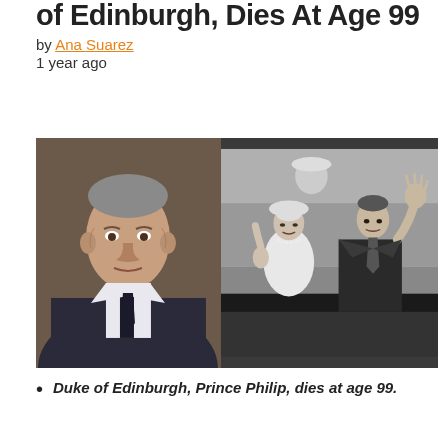of Edinburgh, Dies At Age 99
by Ana Suarez
1 year ago
[Figure (photo): Two side-by-side photos: left is a color portrait of an elderly man (Prince Philip) in a suit and tie; right is a black-and-white photo of a woman and man (Queen Elizabeth II and Prince Philip) waving from a vehicle.]
Duke of Edinburgh, Prince Philip, dies at age 99.
He had been at the hospital, it died after a long...